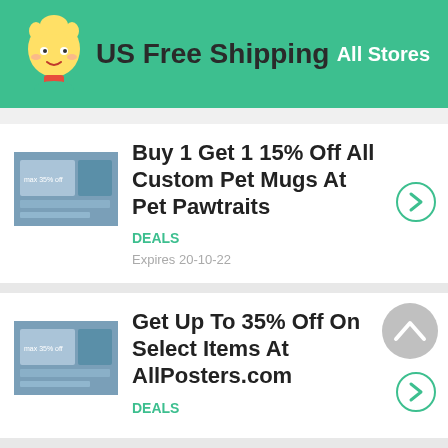US Free Shipping | All Stores
Buy 1 Get 1 15% Off All Custom Pet Mugs At Pet Pawtraits
DEALS
Expires 20-10-22
Get Up To 35% Off On Select Items At AllPosters.com
DEALS